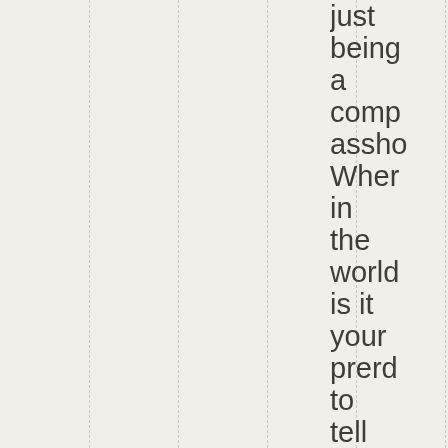just being a compasshole When in the world is it your prerogative to tell Marc her